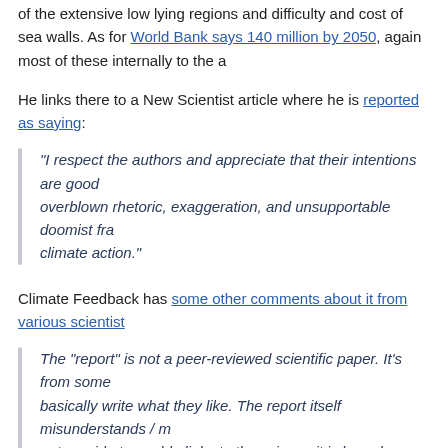of the extensive low lying regions and difficulty and cost of sea walls. As for World Bank says 140 million by 2050, again most of these internally to the a
He links there to a New Scientist article where he is reported as saying:
“I respect the authors and appreciate that their intentions are good overblown rhetoric, exaggeration, and unsupportable doomist fra climate action.”
Climate Feedback has some other comments about it from various scientist
The “report” is not a peer-reviewed scientific paper. It’s from some basically write what they like. The report itself misunderstands / m not provide traceable links to the science it is based on so it canno someone familiar with the literature can work it out, and hence see are ramped-up from the original research).
Richard Betts, Professor, Met Office Hadley Centre & University o